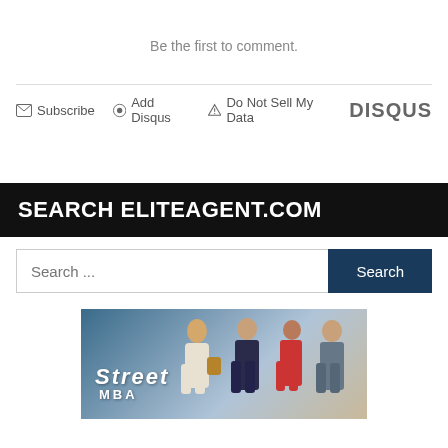Be the first to comment.
Subscribe  Add Disqus  Do Not Sell My Data  DISQUS
SEARCH ELITEAGENT.COM
Search ...
[Figure (illustration): Street MBA advertisement banner with illustrated figures of people standing in a line and a graffiti-style logo reading 'Street MBA']